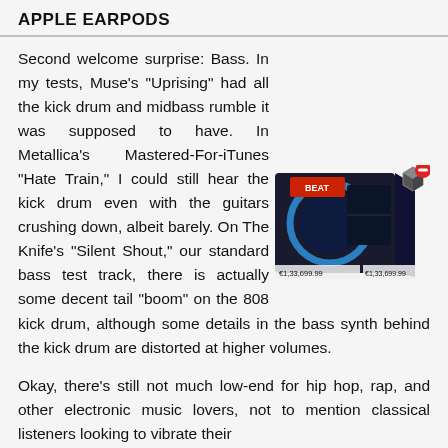APPLE EARPODS
Second welcome surprise: Bass. In my tests, Muse's "Uprising" had all the kick drum and midbass rumble it was supposed to have. In Metallica's Mastered-For-iTunes "Hate Train," I could still hear the kick drum even with the guitars crushing down, albeit barely. On The Knife's "Silent Shout," our standard bass test track, there is actually some decent tail "boom" on the 808 kick drum, although some details in the bass synth behind the kick drum are distorted at higher volumes.
[Figure (photo): Product box illustration showing a dark gaming/audio product box with blue circular design, price tag showing €1,33,699.99]
Okay, there's still not much low-end for hip hop, rap, and other electronic music lovers, not to mention classical listeners looking to vibrate their